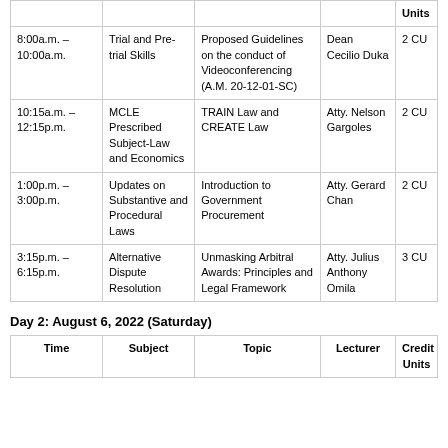| Time | Subject | Topic | Lecturer | Credit Units |
| --- | --- | --- | --- | --- |
| 8:00a.m. – 10:00a.m. | Trial and Pre-trial Skills | Proposed Guidelines on the conduct of Videoconferencing (A.M. 20-12-01-SC) | Dean Cecilio Duka | 2 CU |
| 10:15a.m. – 12:15p.m. | MCLE Prescribed Subject-Law and Economics | TRAIN Law and CREATE Law | Atty. Nelson Gargoles | 2 CU |
| 1:00p.m. – 3:00p.m. | Updates on Substantive and Procedural Laws | Introduction to Government Procurement | Atty. Gerard Chan | 2 CU |
| 3:15p.m. – 6:15p.m. | Alternative Dispute Resolution | Unmasking Arbitral Awards: Principles and Legal Framework | Atty. Julius Anthony Omila | 3 CU |
Day 2: August 6, 2022 (Saturday)
| Time | Subject | Topic | Lecturer | Credit Units |
| --- | --- | --- | --- | --- |